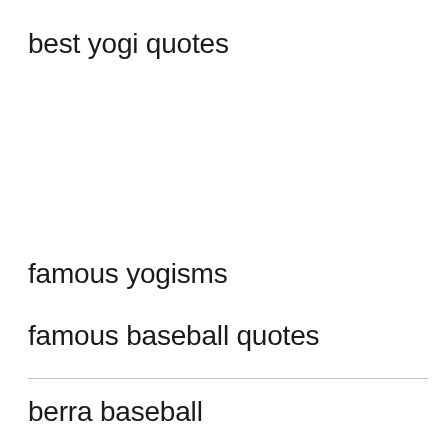best yogi quotes
famous yogisms
famous baseball quotes
berra baseball